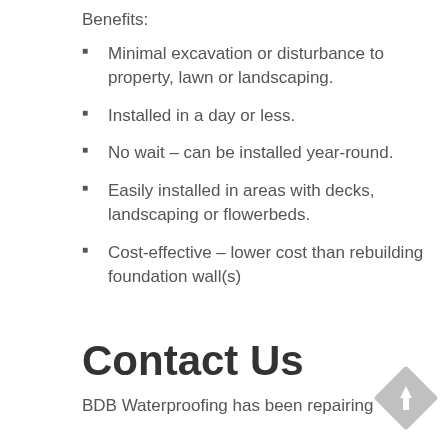Benefits:
Minimal excavation or disturbance to property, lawn or landscaping.
Installed in a day or less.
No wait – can be installed year-round.
Easily installed in areas with decks, landscaping or flowerbeds.
Cost-effective – lower cost than rebuilding foundation wall(s)
Contact Us
BDB Waterproofing has been repairing